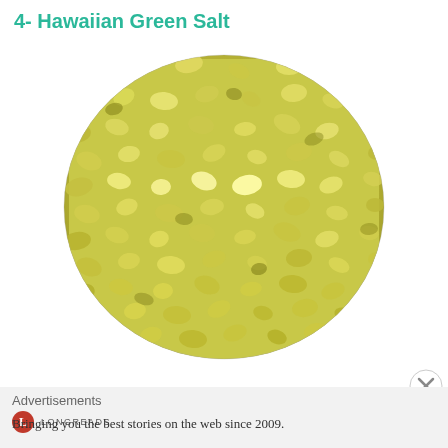4- Hawaiian Green Salt
[Figure (photo): Close-up circular photo of Hawaiian Green Salt grains — yellowish-green coarse salt crystals filling the frame, with a circular crop/vignette shape.]
Advertisements
[Figure (logo): Longreads logo — red circle with white L, followed by LONGREADS text in small caps]
Bringing you the best stories on the web since 2009.